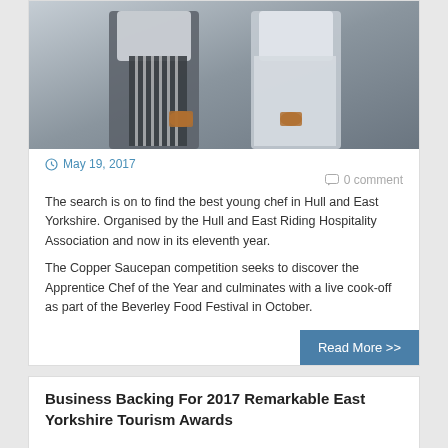[Figure (photo): Two chefs in white uniforms and striped aprons holding copper saucepans]
May 19, 2017
0 comment
The search is on to find the best young chef in Hull and East Yorkshire. Organised by the Hull and East Riding Hospitality Association and now in its eleventh year.
The Copper Saucepan competition seeks to discover the Apprentice Chef of the Year and culminates with a live cook-off as part of the Beverley Food Festival in October.
Read More >>
Business Backing For 2017 Remarkable East Yorkshire Tourism Awards
[Figure (photo): Street view of East Yorkshire town buildings]